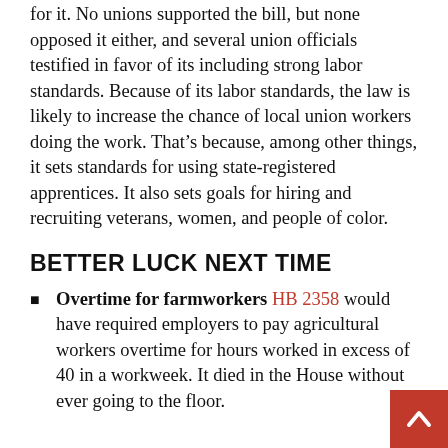for it. No unions supported the bill, but none opposed it either, and several union officials testified in favor of its including strong labor standards. Because of its labor standards, the law is likely to increase the chance of local union workers doing the work. That’s because, among other things, it sets standards for using state-registered apprentices. It also sets goals for hiring and recruiting veterans, women, and people of color.
BETTER LUCK NEXT TIME
Overtime for farmworkers HB 2358 would have required employers to pay agricultural workers overtime for hours worked in excess of 40 in a workweek. It died in the House without ever going to the floor.